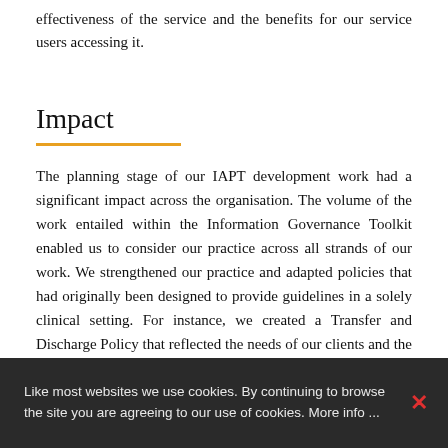effectiveness of the service and the benefits for our service users accessing it.
Impact
The planning stage of our IAPT development work had a significant impact across the organisation. The volume of the work entailed within the Information Governance Toolkit enabled us to consider our practice across all strands of our work. We strengthened our practice and adapted policies that had originally been designed to provide guidelines in a solely clinical setting. For instance, we created a Transfer and Discharge Policy that reflected the needs of our clients and the context or our community based organisation. From an operational perspective, we expanded our knowledge of
Like most websites we use cookies. By continuing to browse the site you are agreeing to our use of cookies. More info ...